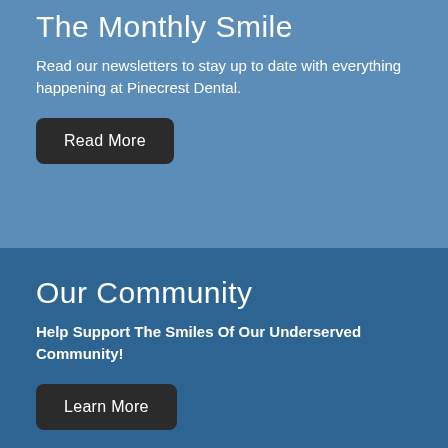The Monthly Smile
Read our newsletters to stay up to date with everything happening at Pinecrest Dental.
Read More
Our Community
Help Support The Smiles Of Our Underserved Community!
Learn More